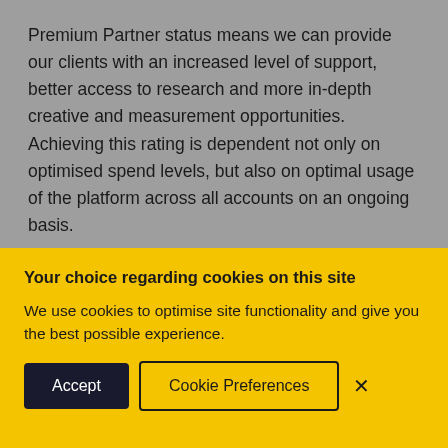Premium Partner status means we can provide our clients with an increased level of support, better access to research and more in-depth creative and measurement opportunities. Achieving this rating is dependent not only on optimised spend levels, but also on optimal usage of the platform across all accounts on an ongoing basis.
Your choice regarding cookies on this site
We use cookies to optimise site functionality and give you the best possible experience.
Accept | Cookie Preferences | ×